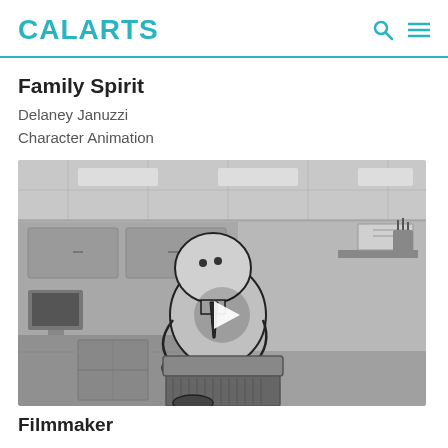CalArts
Family Spirit
Delaney Januzzi
Character Animation
[Figure (screenshot): Grayscale animation still showing a cartoon character with a round head, wearing a tie, hunched over a desk/filing cabinet in an office setting. A play button is overlaid in the center of the image.]
Filmmaker